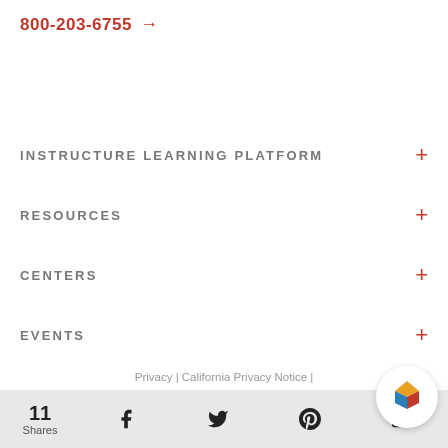800-203-6755 →
INSTRUCTURE LEARNING PLATFORM
RESOURCES
CENTERS
EVENTS
CUSTOMERS
ABOUT US
Privacy | California Privacy Notice |
11 Shares